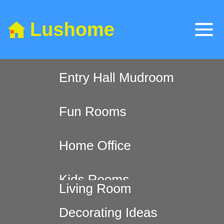Lushome
Entry Hall Mudroom
Fun Rooms
Home Office
Kids Rooms
Kitchen Ideas
Living Room
Decorating Ideas